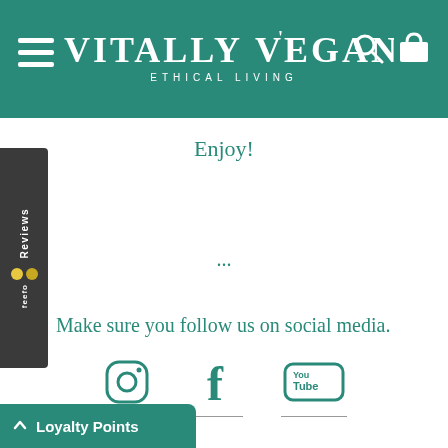VITALLY VEGAN — ETHICAL LIVING
Enjoy!
...
Make sure you follow us on social media.
[Figure (illustration): Instagram, Facebook, and YouTube social media icons with underlines]
Loyalty Points